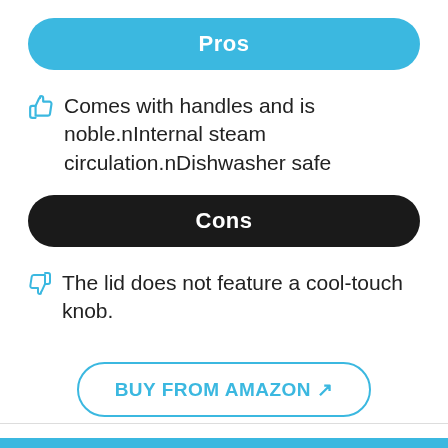Pros
Comes with handles and is noble.nInternal steam circulation.nDishwasher safe
Cons
The lid does not feature a cool-touch knob.
BUY FROM AMAZON